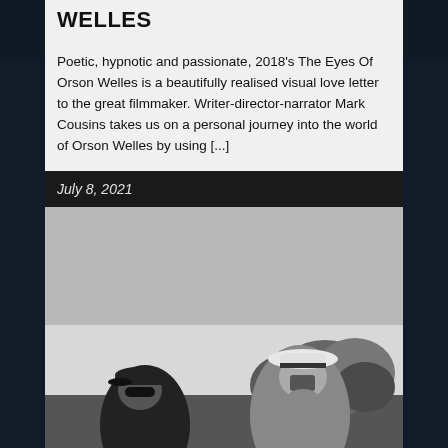WELLES
Poetic, hypnotic and passionate, 2018's The Eyes Of Orson Welles is a beautifully realised visual love letter to the great filmmaker. Writer-director-narrator Mark Cousins takes us on a personal journey into the world of Orson Welles by using [...]
July 8, 2021
[Figure (photo): Black and white photograph of two people outdoors, one wearing a baseball cap and sunglasses, the other wearing a white panama hat, with trees in the background]